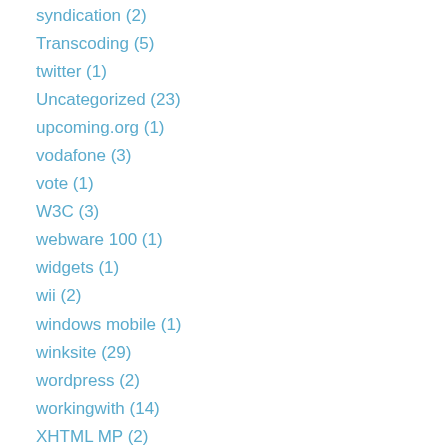syndication (2)
Transcoding (5)
twitter (1)
Uncategorized (23)
upcoming.org (1)
vodafone (3)
vote (1)
W3C (3)
webware 100 (1)
widgets (1)
wii (2)
windows mobile (1)
winksite (29)
wordpress (2)
workingwith (14)
XHTML MP (2)
yahoo (2)
zombies (1)